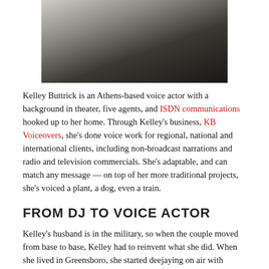[Figure (photo): A person in riding attire (boots, jacket) on horseback, cropped to show lower body and horse]
Kelley Buttrick is an Athens-based voice actor with a background in theater, five agents, and ISDN communications hooked up to her home. Through Kelley's business, KB Voiceovers, she's done voice work for regional, national and international clients, including non-broadcast narrations and radio and television commercials. She's adaptable, and can match any message — on top of her more traditional projects, she's voiced a plant, a dog, even a train.
FROM DJ TO VOICE ACTOR
Kelley's husband is in the military, so when the couple moved from base to base, Kelley had to reinvent what she did. When she lived in Greensboro, she started deejaying on air with WDDK, and veejayed for WNGM-TV34 when she moved to Athens. That exposure led to requests for commercials — she